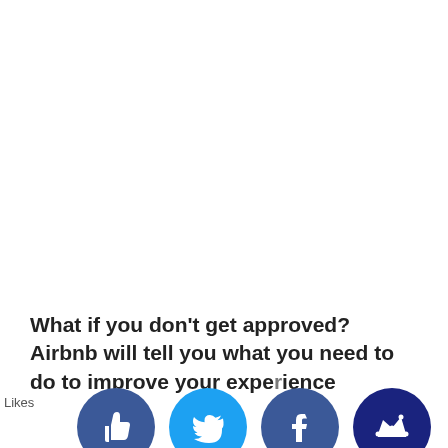What if you don't get approved? Airbnb will tell you what you need to do to improve your experience
[Figure (illustration): Row of four social media / engagement icon circles at the bottom: a dark blue thumbs-up (like) button, a light blue Twitter bird icon, a dark blue Facebook 'f' icon, and a dark navy crown icon. A 'Likes' text label appears to the left of the thumbs-up icon.]